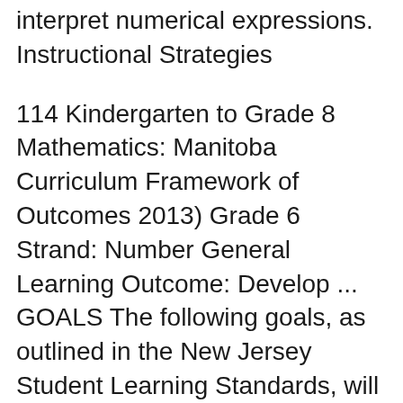interpret numerical expressions. Instructional Strategies
114 Kindergarten to Grade 8 Mathematics: Manitoba Curriculum Framework of Outcomes 2013) Grade 6 Strand: Number General Learning Outcome: Develop ... GOALS The following goals, as outlined in the New Jersey Student Learning Standards, will provide a framework for preparation and instruction in
Below is the curriculum guide for the K to 12 Program. It is hosted on Google Drive and free to download. It covers the curriculum from Kindergarten, Grades 1 to 6 CURRICULUM GUIDE